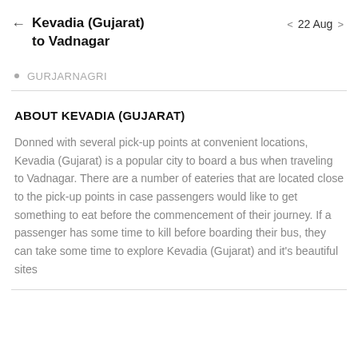Kevadia (Gujarat) to Vadnagar — 22 Aug
GURJARNAGRI
ABOUT KEVADIA (GUJARAT)
Donned with several pick-up points at convenient locations, Kevadia (Gujarat) is a popular city to board a bus when traveling to Vadnagar. There are a number of eateries that are located close to the pick-up points in case passengers would like to get something to eat before the commencement of their journey. If a passenger has some time to kill before boarding their bus, they can take some time to explore Kevadia (Gujarat) and it's beautiful sites